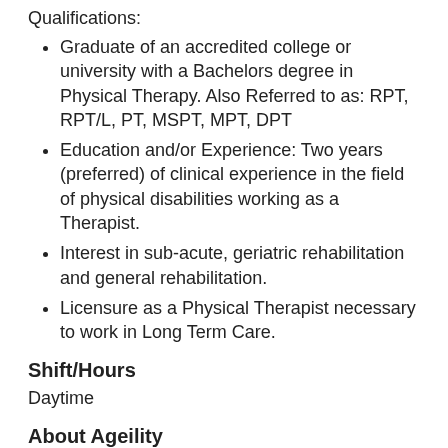Qualifications:
Graduate of an accredited college or university with a Bachelors degree in Physical Therapy. Also Referred to as: RPT, RPT/L, PT, MSPT, MPT, DPT
Education and/or Experience: Two years (preferred) of clinical experience in the field of physical disabilities working as a Therapist.
Interest in sub-acute, geriatric rehabilitation and general rehabilitation.
Licensure as a Physical Therapist necessary to work in Long Term Care.
Shift/Hours
Daytime
About Ageility
Five Star Senior Living and Ageility are operating divisions of AlerisLife, a provider of an evolving portfolio of residential